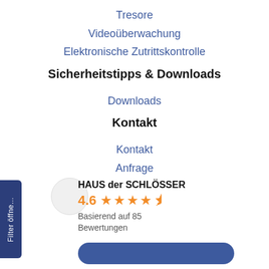Tresore
Videoüberwachung
Elektronische Zutrittskontrolle
Sicherheitstipps & Downloads
Downloads
Kontakt
Kontakt
Anfrage
HAUS der SCHLÖSSER
4.6 ★★★★☆
Basierend auf 85 Bewertungen